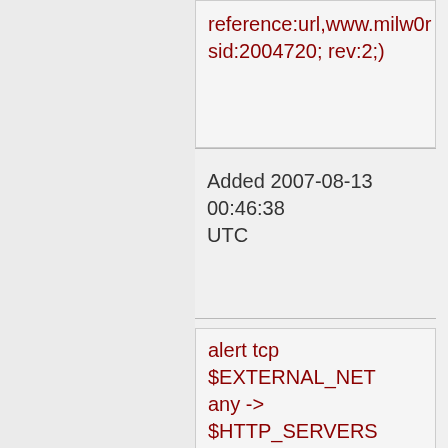reference:url,www.milw0r sid:2004720; rev:2;)
Added 2007-08-13 00:46:38 UTC
alert tcp $EXTERNAL_NET any -> $HTTP_SERVERS $HTTP_PORTS (msg:"BLEEDING-EDGE WEB ANGEL Learning Management Suite (LMS) SQL Injection Attempt -- default.asp id DELETE"; flow:established,to_serv